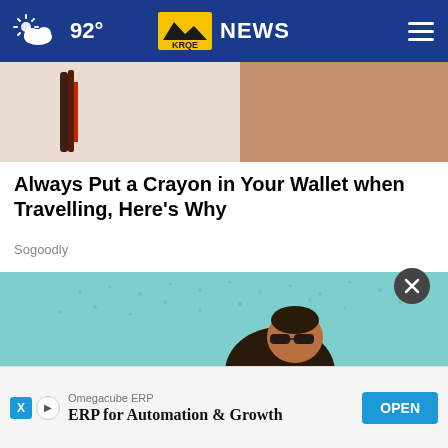92° KRQE NEWS
[Figure (photo): Partial cropped image showing what appears to be a wallet or similar object with red and dark elements against a light background]
Always Put a Crayon in Your Wallet when Travelling, Here's Why
Sogoodly
[Figure (photo): A man wearing sunglasses and a dark t-shirt working on a roof with a nail gun, against a teal/turquoise background with a speckled pattern]
Omegacube ERP
ERP for Automation & Growth OPEN